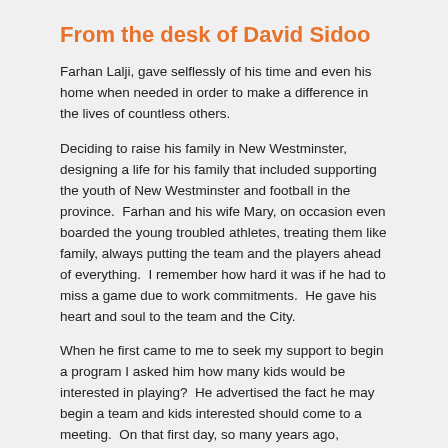From the desk of David Sidoo
Farhan Lalji, gave selflessly of his time and even his home when needed in order to make a difference in the lives of countless others.
Deciding to raise his family in New Westminster, designing a life for his family that included supporting the youth of New Westminster and football in the province.  Farhan and his wife Mary, on occasion even boarded the young troubled athletes, treating them like family, always putting the team and the players ahead of everything.  I remember how hard it was if he had to miss a game due to work commitments.  He gave his heart and soul to the team and the City.
When he first came to me to seek my support to begin a program I asked him how many kids would be interested in playing?  He advertised the fact he may begin a team and kids interested should come to a meeting.  On that first day, so many years ago, hundreds of kids showed up from all different nationalities.  We knew at that moment this could be something special.   Kids from all nationalities showed up to play, not just that year, but every year.  Kids from